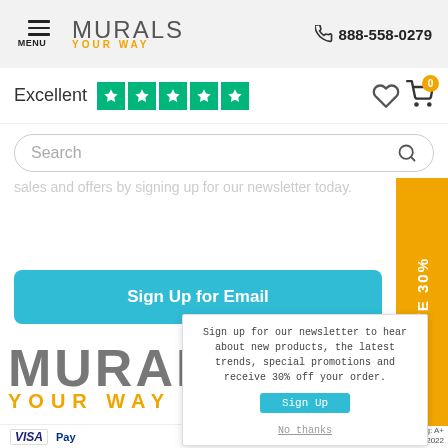MURALS YOUR WAY | 888-558-0279
Excellent ★★★★★
Search
newsletter today.
Sign Up for Email
[Figure (logo): Murals Your Way logo - large gray MURALS text with orange YOUR WAY subtitle]
VISA PayPal
Sign up for our newsletter to hear about new products, the latest trends, special promotions and receive 30% off your order.
Sign Up
No thanks
SAVE 30%